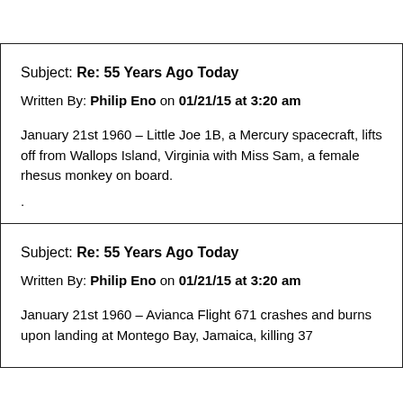Subject: Re: 55 Years Ago Today
Written By: Philip Eno on 01/21/15 at 3:20 am

January 21st 1960 – Little Joe 1B, a Mercury spacecraft, lifts off from Wallops Island, Virginia with Miss Sam, a female rhesus monkey on board.
.
Subject: Re: 55 Years Ago Today
Written By: Philip Eno on 01/21/15 at 3:20 am

January 21st 1960 – Avianca Flight 671 crashes and burns upon landing at Montego Bay, Jamaica, killing 37